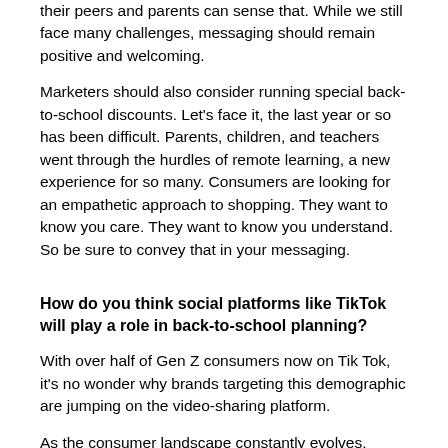their peers and parents can sense that. While we still face many challenges, messaging should remain positive and welcoming.
Marketers should also consider running special back-to-school discounts. Let's face it, the last year or so has been difficult. Parents, children, and teachers went through the hurdles of remote learning, a new experience for so many. Consumers are looking for an empathetic approach to shopping. They want to know you care. They want to know you understand. So be sure to convey that in your messaging.
How do you think social platforms like TikTok will play a role in back-to-school planning?
With over half of Gen Z consumers now on Tik Tok, it's no wonder why brands targeting this demographic are jumping on the video-sharing platform.
As the consumer landscape constantly evolves, brands need to stay on top of the latest conversations. And Tik Tok is all about trends. From recipes to viral dancing videos, Tik